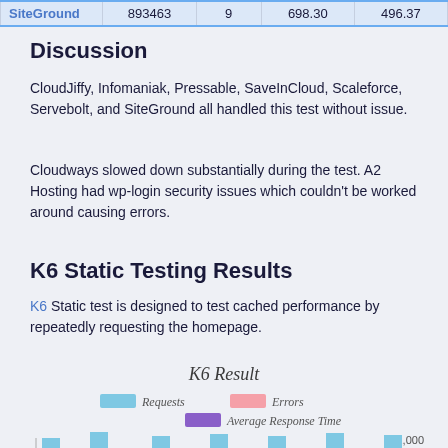| SiteGround | 893463 | 9 | 698.30 | 496.37 |
| --- | --- | --- | --- | --- |
Discussion
CloudJiffy, Infomaniak, Pressable, SaveInCloud, Scaleforce, Servebolt, and SiteGround all handled this test without issue.
Cloudways slowed down substantially during the test. A2 Hosting had wp-login security issues which couldn't be worked around causing errors.
K6 Static Testing Results
K6 Static test is designed to test cached performance by repeatedly requesting the homepage.
[Figure (bar-chart): Bar chart showing K6 static test results with Requests (blue), Errors (pink), and Average Response Time (purple) as legend items. Y-axis shows value up to 2,000. Partial bars visible at bottom.]